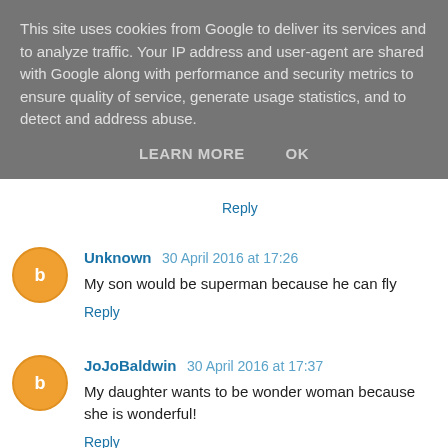This site uses cookies from Google to deliver its services and to analyze traffic. Your IP address and user-agent are shared with Google along with performance and security metrics to ensure quality of service, generate usage statistics, and to detect and address abuse.
LEARN MORE    OK
Reply
Unknown 30 April 2016 at 17:26
My son would be superman because he can fly
Reply
JoJoBaldwin 30 April 2016 at 17:37
My daughter wants to be wonder woman because she is wonderful!
Reply